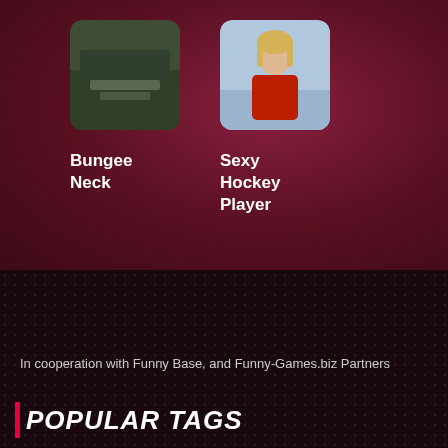[Figure (photo): Thumbnail image of Bungee Neck video, dark/greenish scene]
[Figure (photo): Thumbnail image of Sexy Hockey Player, woman in red hockey jersey on ice rink]
Bungee
Neck
Sexy
Hockey
Player
In cooperation with Funny Base, and Funny-Games.biz Partners
POPULAR TAGS